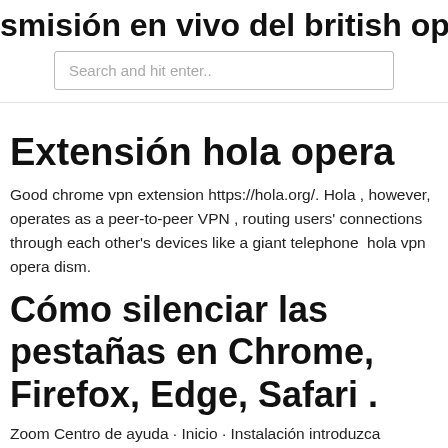smisión en vivo del british open golf
Extensión hola opera
Good chrome vpn extension https://hola.org/. Hola , however, operates as a peer-to-peer VPN , routing users' connections through each other's devices like a giant telephone  hola vpn opera dism.
Cómo silenciar las pestañas en Chrome, Firefox, Edge, Safari .
Zoom Centro de ayuda · Inicio · Instalación introduzca